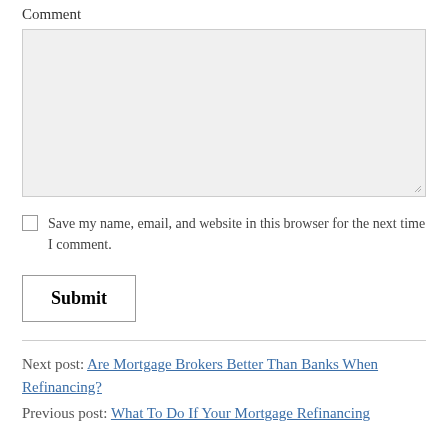Comment
[Figure (other): Comment textarea input box, empty, with resize handle in bottom-right corner]
Save my name, email, and website in this browser for the next time I comment.
Submit
Next post: Are Mortgage Brokers Better Than Banks When Refinancing?
Previous post: What To Do If Your Mortgage Refinancing...